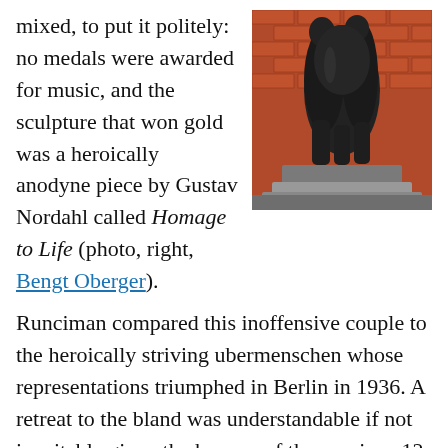mixed, to put it politely: no medals were awarded for music, and the sculpture that won gold was a heroically anodyne piece by Gustav Nordahl called Homage to Life (photo, right, Bengt Oberger).
[Figure (photo): A dark bronze sculpture of two intertwined figures on a stone pedestal, photographed against a red brick wall background.]
Runciman compared this inoffensive couple to the heroically striving ubermenschen whose representations triumphed in Berlin in 1936. A retreat to the bland was understandable if not inevitable given the horrors of the previous 12 years. Together with an irreparable fracturing of consensus on what constitutes \'good\' art,